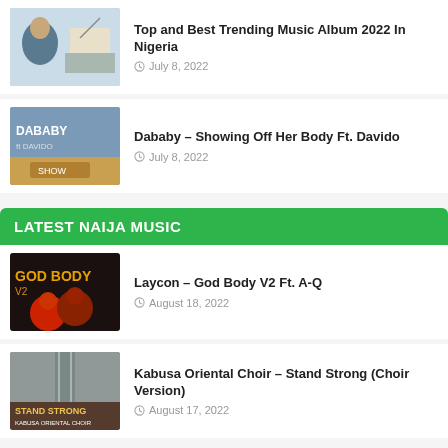Top and Best Trending Music Album 2022 In Nigeria — July 8, 2022
Dababy – Showing Off Her Body Ft. Davido — July 8, 2022
LATEST NAIJA MUSIC
Laycon – God Body V2 Ft. A-Q — August 18, 2022
Kabusa Oriental Choir – Stand Strong (Choir Version) — August 17, 2022